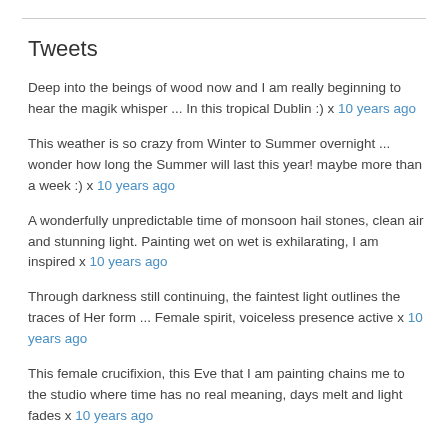Tweets
Deep into the beings of wood now and I am really beginning to hear the magik whisper ... In this tropical Dublin :) x 10 years ago
This weather is so crazy from Winter to Summer overnight ... wonder how long the Summer will last this year! maybe more than a week :) x 10 years ago
A wonderfully unpredictable time of monsoon hail stones, clean air and stunning light. Painting wet on wet is exhilarating, I am inspired x 10 years ago
Through darkness still continuing, the faintest light outlines the traces of Her form ... Female spirit, voiceless presence active x 10 years ago
This female crucifixion, this Eve that I am painting chains me to the studio where time has no real meaning, days melt and light fades x 10 years ago